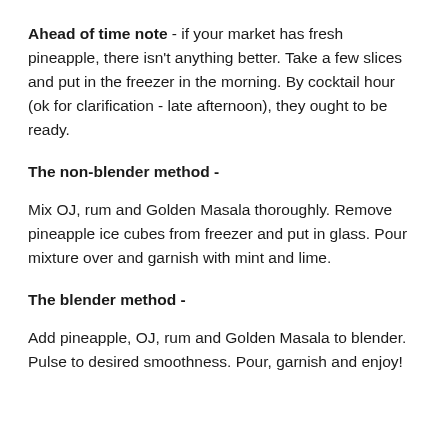Ahead of time note - if your market has fresh pineapple, there isn't anything better. Take a few slices and put in the freezer in the morning. By cocktail hour (ok for clarification - late afternoon), they ought to be ready.
The non-blender method -
Mix OJ, rum and Golden Masala thoroughly. Remove pineapple ice cubes from freezer and put in glass. Pour mixture over and garnish with mint and lime.
The blender method -
Add pineapple, OJ, rum and Golden Masala to blender. Pulse to desired smoothness. Pour, garnish and enjoy!